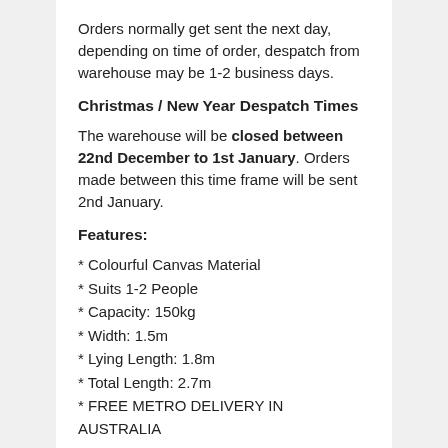Orders normally get sent the next day, depending on time of order, despatch from warehouse may be 1-2 business days.
Christmas / New Year Despatch Times
The warehouse will be closed between 22nd December to 1st January. Orders made between this time frame will be sent 2nd January.
Features:
* Colourful Canvas Material
* Suits 1-2 People
* Capacity: 150kg
* Width: 1.5m
* Lying Length: 1.8m
* Total Length: 2.7m
* FREE METRO DELIVERY IN AUSTRALIA
Specifications:
* Weight Capacity: 150kg